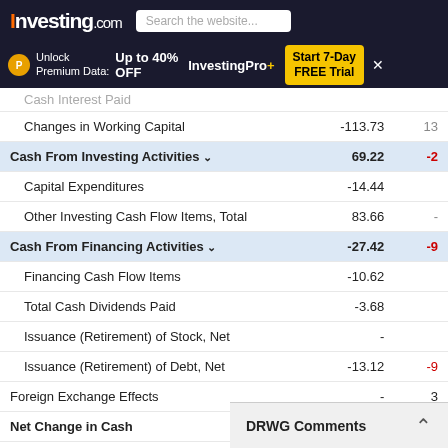Investing.com — Search the website...
Unlock Premium Data: Up to 40% OFF InvestingPro+ Start 7-Day FREE Trial
| Item | Value1 | Value2 |
| --- | --- | --- |
| Cash Interest Paid |  |  |
| Changes in Working Capital | -113.73 | 13 |
| Cash From Investing Activities | 69.22 | -2 |
| Capital Expenditures | -14.44 |  |
| Other Investing Cash Flow Items, Total | 83.66 |  |
| Cash From Financing Activities | -27.42 | -9 |
| Financing Cash Flow Items | -10.62 |  |
| Total Cash Dividends Paid | -3.68 |  |
| Issuance (Retirement) of Stock, Net | - |  |
| Issuance (Retirement) of Debt, Net | -13.12 | -9 |
| Foreign Exchange Effects | - | 3 |
| Net Change in Cash | -143.02 | -6 |
| Beginning Cash Balance | 384.95 |  |
| Ending Cash Balance | 241.93 |  |
| Free Cash Flow | -308.97 |  |
| Free Cash Flow Growth | 342.04 |  |
| Free Cash Flow |  |  |
DRWG Comments